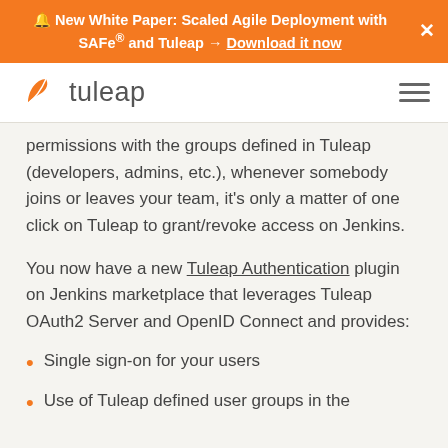🔔 New White Paper: Scaled Agile Deployment with SAFe® and Tuleap → Download it now
[Figure (logo): Tuleap logo with orange leaf icon and 'tuleap' wordmark, plus hamburger menu icon on right]
permissions with the groups defined in Tuleap (developers, admins, etc.), whenever somebody joins or leaves your team, it's only a matter of one click on Tuleap to grant/revoke access on Jenkins.
You now have a new Tuleap Authentication plugin on Jenkins marketplace that leverages Tuleap OAuth2 Server and OpenID Connect and provides:
Single sign-on for your users
Use of Tuleap defined user groups in the